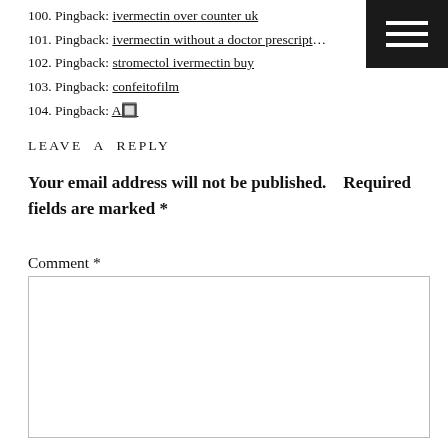100. Pingback: ivermectin over counter uk
101. Pingback: ivermectin without a doctor prescription
102. Pingback: stromectol ivermectin buy
103. Pingback: confeitofilm
104. Pingback: A�
LEAVE A REPLY
Your email address will not be published.   Required fields are marked *
Comment *